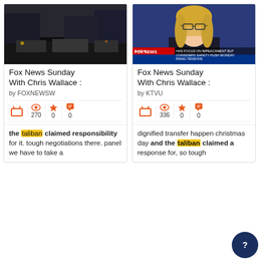[Figure (screenshot): Screenshot of a dark street scene with vehicles]
Fox News Sunday With Chris Wallace :
by FOXNEWSW
270 views, 0 favorites, 0 quotes
the taliban claimed responsibility for it. tough negotiations there. panel we have to take a
[Figure (screenshot): Screenshot of a female news anchor on Fox News Sunday]
Fox News Sunday With Chris Wallace :
by KTVU
336 views, 0 favorites, 0 quotes
dignified transfer happen christmas day and the taliban claimed a response for, so tough